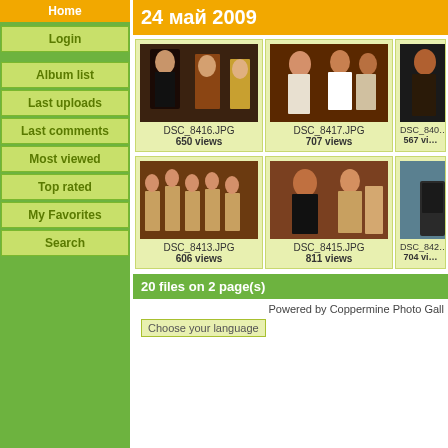Home
Login
Album list
Last uploads
Last comments
Most viewed
Top rated
My Favorites
Search
24 май 2009
[Figure (photo): Thumbnail grid of 6 dance/performance photos: DSC_8416.JPG (650 views), DSC_8417.JPG (707 views), DSC_8407 (567 views), DSC_8413.JPG (606 views), DSC_8415.JPG (811 views), DSC_8422 (704 views)]
20 files on 2 page(s)
Powered by Coppermine Photo Gall
Choose your language